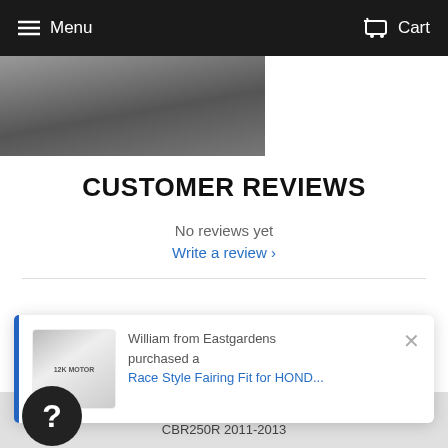Menu  Cart
[Figure (photo): Partial product photo, dark/grey motorcycle fairing image strip]
CUSTOMER REVIEWS
No reviews yet
Write a review ›
[Figure (other): Purchase notification popup: William from Eastgardens purchased a Race Style Fairing Fit for HOND... with product thumbnail and close button]
HONDA MOTORBIKE FAIRING
CBR250R 2011-2013